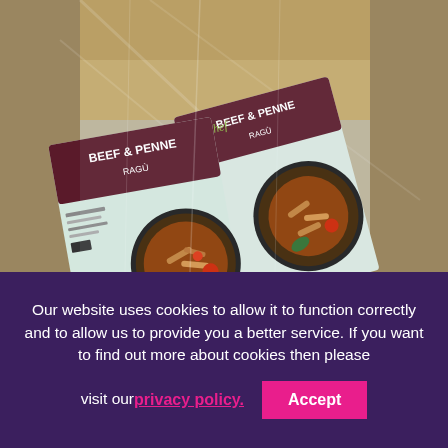[Figure (photo): A photograph showing multiple packaged food products labeled 'Beef & Penne Ragù' from a brand called 'chef', wrapped in clear plastic shrink wrap inside a cardboard box. The packages show the product name and a photo of the dish on the front.]
Our website uses cookies to allow it to function correctly and to allow us to provide you a better service. If you want to find out more about cookies then please visit our privacy policy. Accept